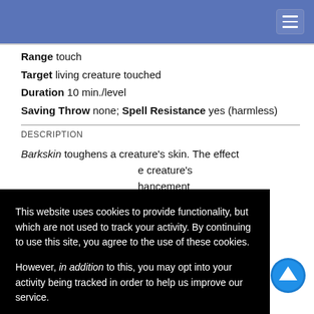Range touch
Target living creature touched
Duration 10 min./level
Saving Throw none; Spell Resistance yes (harmless)
DESCRIPTION
Barkskin toughens a creature's skin. The effect ... e creature's ... hancement ... caster levels ... h level. ... barkskin ... bonus, but ... to natural ... or has an
This website uses cookies to provide functionality, but which are not used to track your activity. By continuing to use this site, you agree to the use of these cookies.

However, in addition to this, you may opt into your activity being tracked in order to help us improve our service.

For more information, please click here
Mythic